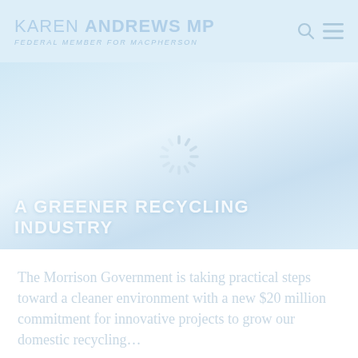KAREN ANDREWS MP — Federal Member for Macpherson
[Figure (photo): Hero image of Karen Andrews MP with a coastal/outdoor background, partially washed out/loading. A spinner (loading indicator) is visible in the centre. Overlay text reads: A GREENER RECYCLING INDUSTRY]
A GREENER RECYCLING INDUSTRY
The Morrison Government is taking practical steps toward a cleaner environment with a new $20 million commitment for innovative projects to grow our domestic recycling…